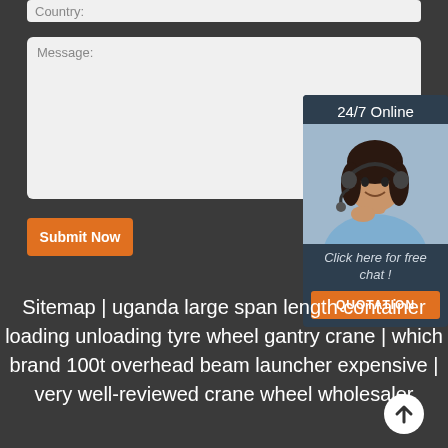Country:
Message:
Submit Now
[Figure (illustration): Chat widget with '24/7 Online' header, a photo of a woman with headset, text 'Click here for free chat!' and an orange QUOTATION button]
Sitemap | uganda large span length container loading unloading tyre wheel gantry crane | which brand 100t overhead beam launcher expensive | very well-reviewed crane wheel wholesaler